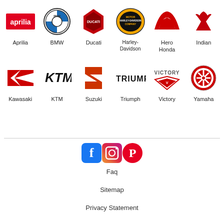[Figure (logo): Aprilia brand logo - red rectangle with white Aprilia text]
[Figure (logo): BMW roundel logo - blue and white quartered circle with black ring]
[Figure (logo): Ducati shield logo - red shield shape]
[Figure (logo): Harley-Davidson Motor Company logo - orange and black circular badge]
[Figure (logo): Honda wing logo - red stylized wing]
[Figure (logo): Indian Motorcycle logo - red chief headdress silhouette]
Aprilia
BMW
Ducati
Harley-Davidson
Hero Honda
Indian
[Figure (logo): Kawasaki logo - red K with angular lines]
[Figure (logo): KTM logo - black stylized KTM text]
[Figure (logo): Suzuki logo - red stylized S]
[Figure (logo): Triumph logo - black TRIUMPH text]
[Figure (logo): Victory motorcycles logo - red V with Victory text]
[Figure (logo): Yamaha logo - red circle with tuning fork emblem]
Kawasaki
KTM
Suzuki
Triumph
Victory
Yamaha
[Figure (logo): Social media icons: Facebook (blue f), Instagram (gradient camera), Pinterest (red P)]
Faq
Sitemap
Privacy Statement